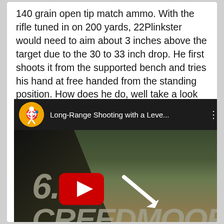140 grain open tip match ammo. With the rifle tuned in on 200 yards, 22Plinkster would need to aim about 3 inches above the target due to the 30 to 33 inch drop. He first shoots it from the supported bench and tries his hand at free handed from the standing position. How does he do, well take a look at the video below.
[Figure (screenshot): YouTube video embed thumbnail for 'Long-Range Shooting with a Leve...' showing a shooter in white shirt aiming a rifle from the standing position with '6.5 CREEDMOOR' text overlay and a YouTube play button, on a channel with an orange logo icon.]